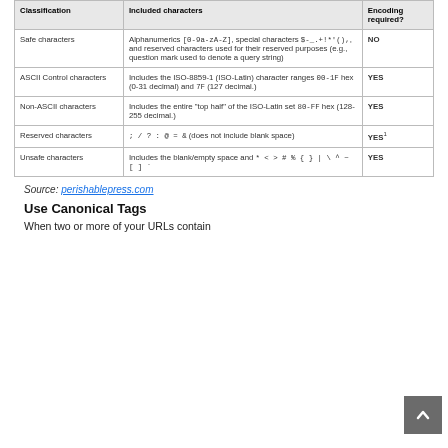| Classification | Included characters | Encoding required? |
| --- | --- | --- |
| Safe characters | Alphanumerics [0-9a-zA-Z], special characters $-_.+!*'(),, and reserved characters used for their reserved purposes (e.g., question mark used to denote a query string) | NO |
| ASCII Control characters | Includes the ISO-8859-1 (ISO-Latin) character ranges 00-1F hex (0-31 decimal) and 7F (127 decimal.) | YES |
| Non-ASCII characters | Includes the entire "top half" of the ISO-Latin set 80-FF hex (128-255 decimal.) | YES |
| Reserved characters | ; / ? : @ = & (does not include blank space) | YES¹ |
| Unsafe characters | Includes the blank/empty space and * < > # % { } | \ ^ ~ [ ] ` | YES |
Source: perishablepress.com
Use Canonical Tags
When two or more of your URLs contain